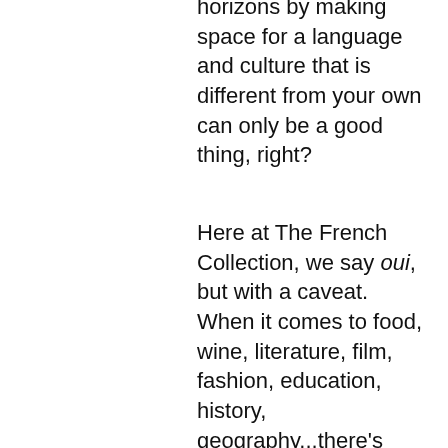horizons by making space for a language and culture that is different from your own can only be a good thing, right?
Here at The French Collection, we say oui, but with a caveat. When it comes to food, wine, literature, film, fashion, education, history, geography...there's simply a bounty of French resources to draw inspiration from. But in 2020, we as a society have had the opportunity to debunk so many cultural myths that have for too long created a sense of inequality. We've been able to tear down rhetoric that would have some believe that traditions originating from a Western European country like France are superior. Let's keep that myth-